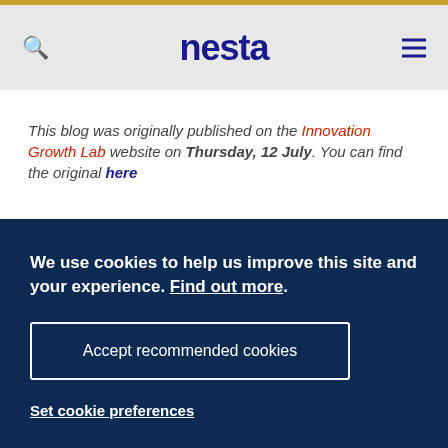nesta
This blog was originally published on the Innovation Growth Lab website on Thursday, 12 July. You can find the original here
About Nesta
Nesta is an innovation foundation. For us, innovation
We use cookies to help us improve this site and your experience. Find out more.
Accept recommended cookies
Set cookie preferences